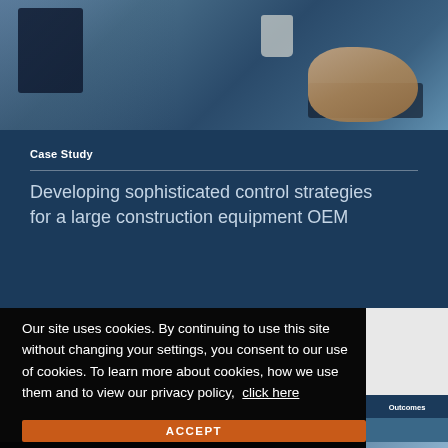[Figure (photo): Person's hand on keyboard at a desk with monitor and coffee cup, blue-toned office photo]
Case Study
Developing sophisticated control strategies for a large construction equipment OEM
Our site uses cookies. By continuing to use this site without changing your settings, you consent to our use of cookies. To learn more about cookies, how we use them and to view our privacy policy,  click here
ACCEPT